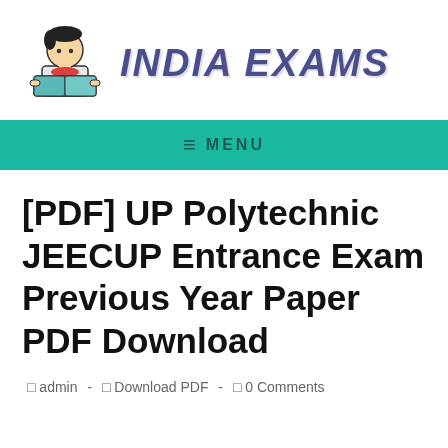[Figure (logo): India Exams website logo with a cartoon figure reading a book and bold italic text 'INDIA EXAMS' in slate blue/indigo color]
≡ MENU
[PDF] UP Polytechnic JEECUP Entrance Exam Previous Year Paper PDF Download
admin - Download PDF - 0 Comments